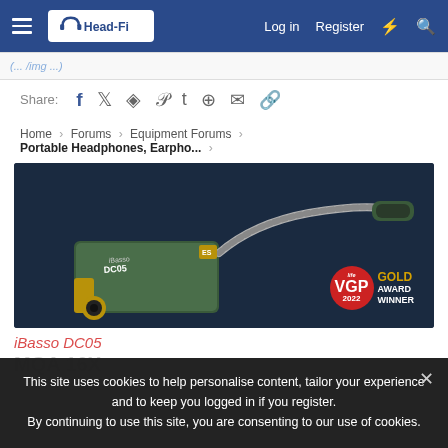Head-Fi — Log in | Register
(... /img ...)
Share: [social icons: Facebook, Twitter, Reddit, Pinterest, Tumblr, WhatsApp, Email, Link]
Home > Forums > Equipment Forums > Portable Headphones, Earpho... >
[Figure (photo): iBasso DC05 USB-C DAC/headphone adapter in dark green color with braided cable, USB-C plug, and 3.5mm jack. VGP Gold Award Winner 2022 badge visible in bottom right.]
iBasso DC05
MQA 16X
This site uses cookies to help personalise content, tailor your experience and to keep you logged in if you register. By continuing to use this site, you are consenting to our use of cookies.